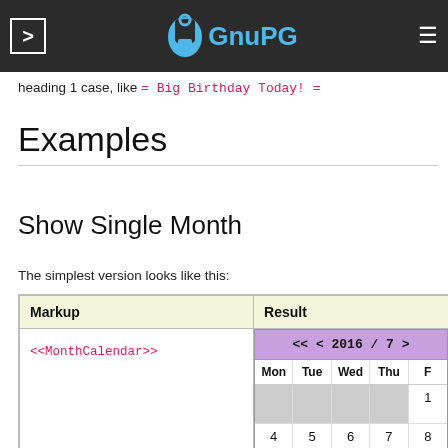GnuPG
heading 1 case, like = Big Birthday Today! =
Examples
Show Single Month
The simplest version looks like this:
| Markup | Result |
| --- | --- |
| <<MonthCalendar>> | [calendar: 2016 / 7 > with Mon Tue Wed Thu F... rows] |